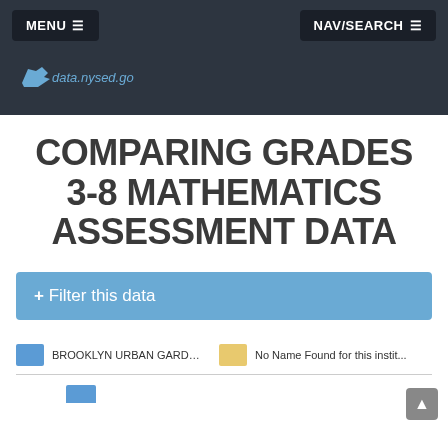MENU ≡   NAV/SEARCH ≡
[Figure (logo): data.nysed.gov logo with New York state icon]
COMPARING GRADES 3-8 MATHEMATICS ASSESSMENT DATA
+ Filter this data
BROOKLYN URBAN GARDEN C...   No Name Found for this instit...